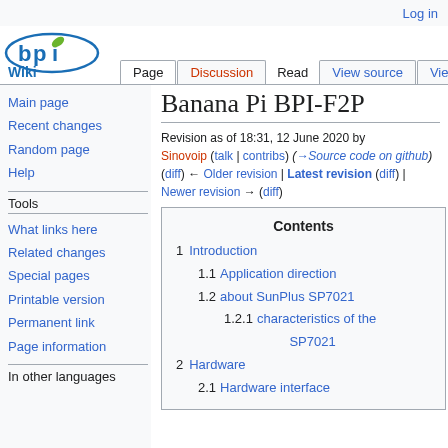Log in
[Figure (logo): BPI Wiki logo - blue oval with 'bpi' text and leaf, 'Wiki' text below in blue]
Page | Discussion | Read | View source | View history | Search Bana
Banana Pi BPI-F2P
Revision as of 18:31, 12 June 2020 by Sinovoip (talk | contribs) (→Source code on github) (diff) ← Older revision | Latest revision (diff) | Newer revision → (diff)
Contents
1 Introduction
1.1 Application direction
1.2 about SunPlus SP7021
1.2.1 characteristics of the SP7021
2 Hardware
2.1 Hardware interface
Navigation links: Main page, Recent changes, Random page, Help, Tools, What links here, Related changes, Special pages, Printable version, Permanent link, Page information, In other languages